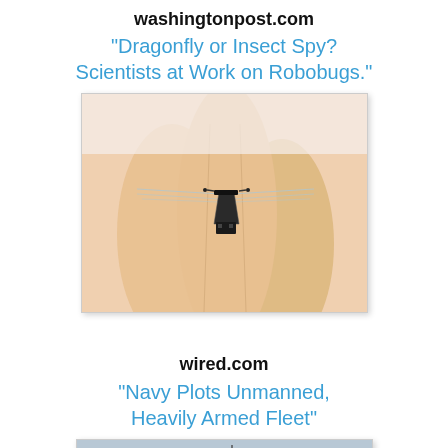washingtonpost.com
"Dragonfly or Insect Spy? Scientists at Work on Robobugs."
[Figure (photo): Close-up photo of a tiny robotic insect/dragonfly robot being held between two human fingers, showing transparent wings and a small black body.]
wired.com
"Navy Plots Unmanned, Heavily Armed Fleet"
[Figure (photo): Photo of an unmanned naval vessel on water with military equipment and equipment on deck, appearing to be an armed autonomous boat.]